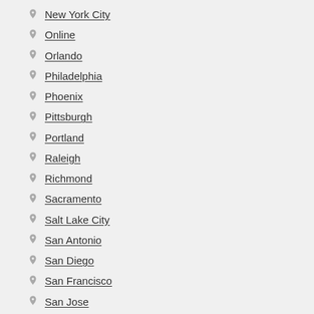New York City
Online
Orlando
Philadelphia
Phoenix
Pittsburgh
Portland
Raleigh
Richmond
Sacramento
Salt Lake City
San Antonio
San Diego
San Francisco
San Jose
Seattle
Stamford
St. Louis
Tampa
Toronto
Tucson
Vancouver